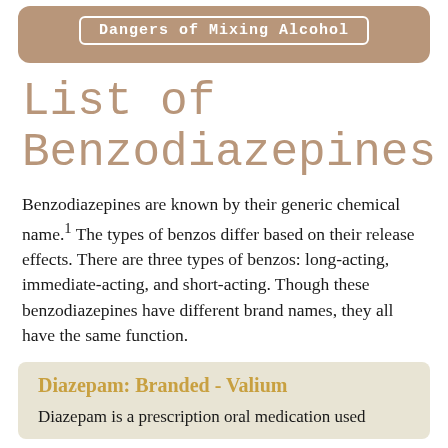Dangers of Mixing Alcohol
List of Benzodiazepines
Benzodiazepines are known by their generic chemical name.¹ The types of benzos differ based on their release effects. There are three types of benzos: long-acting, immediate-acting, and short-acting. Though these benzodiazepines have different brand names, they all have the same function.
Diazepam: Branded - Valium
Diazepam is a prescription oral medication used...